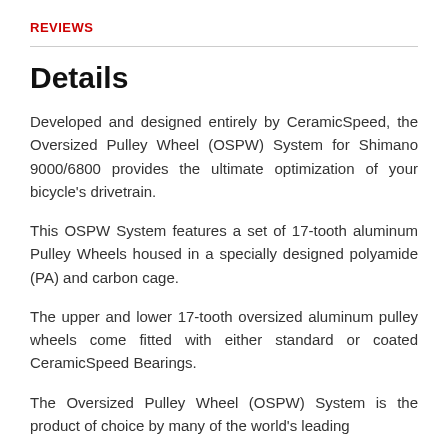REVIEWS
Details
Developed and designed entirely by CeramicSpeed, the Oversized Pulley Wheel (OSPW) System for Shimano 9000/6800 provides the ultimate optimization of your bicycle's drivetrain.
This OSPW System features a set of 17-tooth aluminum Pulley Wheels housed in a specially designed polyamide (PA) and carbon cage.
The upper and lower 17-tooth oversized aluminum pulley wheels come fitted with either standard or coated CeramicSpeed Bearings.
The Oversized Pulley Wheel (OSPW) System is the product of choice by many of the world's leading